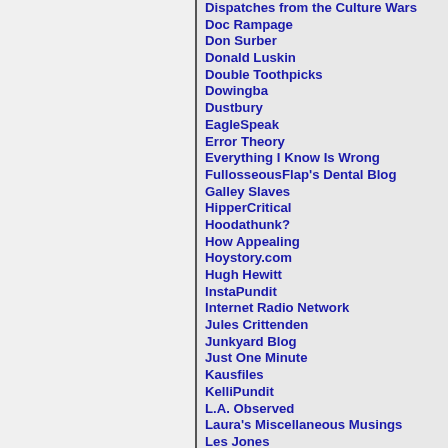Dispatches from the Culture Wars
Doc Rampage
Don Surber
Donald Luskin
Double Toothpicks
Dowingba
Dustbury
EagleSpeak
Error Theory
Everything I Know Is Wrong
FullosseousFlap's Dental Blog
Galley Slaves
HipperCritical
Hoodathunk?
How Appealing
Hoystory.com
Hugh Hewitt
InstaPundit
Internet Radio Network
Jules Crittenden
Junkyard Blog
Just One Minute
Kausfiles
KelliPundit
L.A. Observed
Laura's Miscellaneous Musings
Les Jones
Let's Try Freedom
Likelihood of Confusion
Lileks: The Bleat
Little Green Footballs
Local Liberty Blog